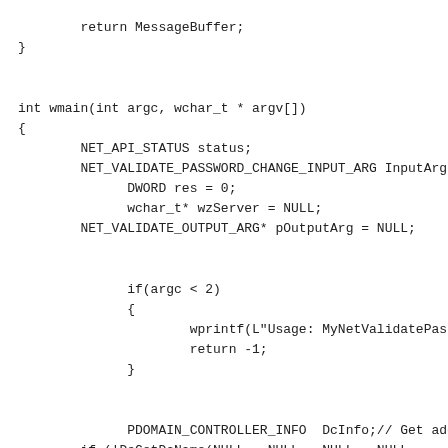return MessageBuffer;
}


int wmain(int argc, wchar_t * argv[])
{
        NET_API_STATUS status;
        NET_VALIDATE_PASSWORD_CHANGE_INPUT_ARG InputArg =
              DWORD res = 0;
              wchar_t* wzServer = NULL;
        NET_VALIDATE_OUTPUT_ARG* pOutputArg = NULL;


              if(argc < 2)
              {
                      wprintf(L"Usage: MyNetValidatePasswor
                      return -1;
              }


              PDOMAIN_CONTROLLER_INFO  DcInfo;// Get addres
        if (!DsGetDcName(NULL,  NULL,  NULL,  NULL,